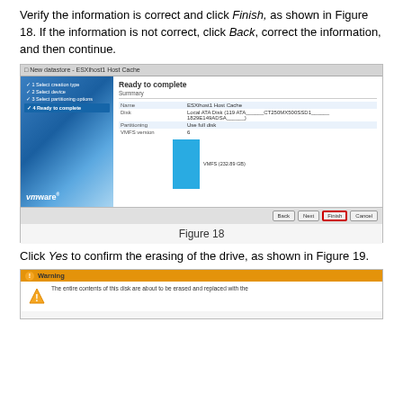Verify the information is correct and click Finish, as shown in Figure 18. If the information is not correct, click Back, correct the information, and then continue.
[Figure (screenshot): VMware ESXihost1 Host Cache datastore creation wizard - Ready to complete screen showing Summary with Name: ESXihost1 Host Cache, Disk: Local ATA Disk (119 ATA CT250MX500SSD1 1829E149ADSA), Partitioning: Use full disk, VMFS version: 6, with a blue bar representing VMFS partition (232.89 GB). Footer buttons: Back, Next, Finish (highlighted with red border), Cancel.]
Figure 18
Click Yes to confirm the erasing of the drive, as shown in Figure 19.
[Figure (screenshot): VMware Warning dialog - The entire contents of this disk are about to be erased and replaced with the...]